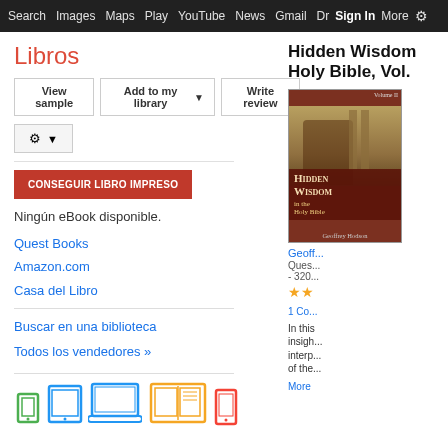Search  Images  Maps  Play  YouTube  News  Gmail  Drive  More  Sign in  ⚙
Libros
View sample  |  Add to my library ▾  |  Write review
CONSEGUIR LIBRO IMPRESO
Ningún eBook disponible.
Quest Books
Amazon.com
Casa del Libro
Buscar en una biblioteca
Todos los vendedores »
[Figure (illustration): Device icons row: smartphone (green), tablet (blue), laptop open (blue), book/desktop (yellow/orange), e-reader (red)]
Hidden Wisdom in the Holy Bible, Vol.
[Figure (photo): Book cover: Hidden Wisdom in the Holy Bible Volume II by Geoffrey Hodson, dark red/brown cover with classical painting scene and gold text]
Geoffrey Hodsn
Quest Books - 320 pages
★★
1 Comentario
In this insightful interpretation of the ...
More